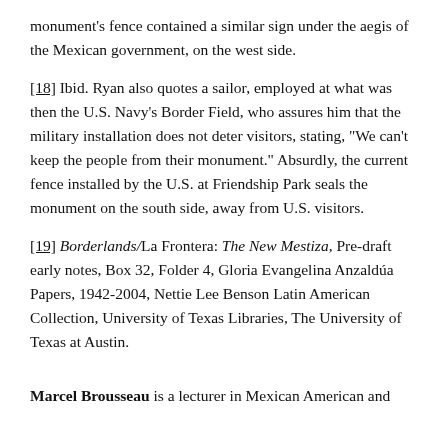monument's fence contained a similar sign under the aegis of the Mexican government, on the west side.
[18] Ibid. Ryan also quotes a sailor, employed at what was then the U.S. Navy's Border Field, who assures him that the military installation does not deter visitors, stating, “We can’t keep the people from their monument.” Absurdly, the current fence installed by the U.S. at Friendship Park seals the monument on the south side, away from U.S. visitors.
[19] Borderlands/La Frontera: The New Mestiza, Pre-draft early notes, Box 32, Folder 4, Gloria Evangelina Anzaldúa Papers, 1942-2004, Nettie Lee Benson Latin American Collection, University of Texas Libraries, The University of Texas at Austin.
Marcel Brousseau is a lecturer in Mexican American and